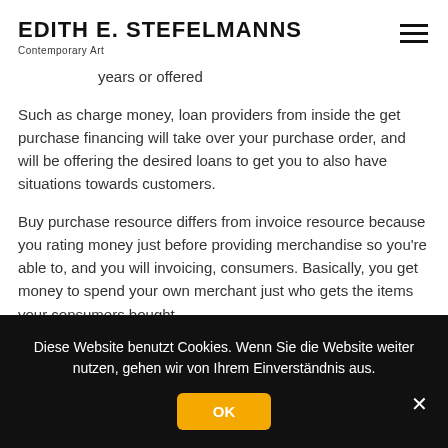EDITH E. STEFELMANNS
Contemporary Art
years or offered
Such as charge money, loan providers from inside the get purchase financing will take over your purchase order, and will be offering the desired loans to get you to also have situations towards customers.
Buy purchase resource differs from invoice resource because you rating money just before providing merchandise so you're able to, and you will invoicing, consumers. Basically, you get money to spend your own merchant just who gets the items your consumers bought.
Diese Website benutzt Cookies. Wenn Sie die Website weiter nutzen, gehen wir von Ihrem Einverständnis aus.
OK